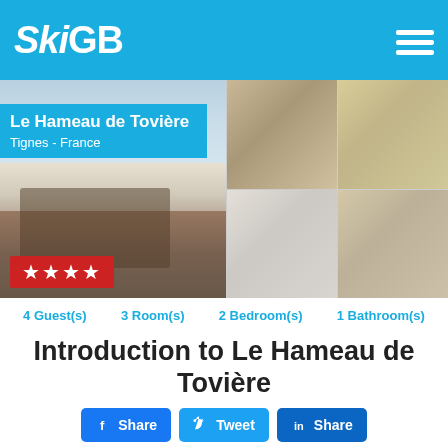SkiGB
[Figure (photo): Property photos of Le Hameau de Tovière in Tignes, France. Main photo shows snowy mountain village terrace with outdoor dining furniture. Top-right shows interior living room. Middle-right shows kitchen. Bottom-right shows dining/living area. 4-star rating badge.]
4 Guest(s)   3 Room(s)   2 Bedroom(s)   1 Bathroom(s)
Introduction to Le Hameau de Tovière
Share  Tweet  Share
When looking for ski accommodation for your